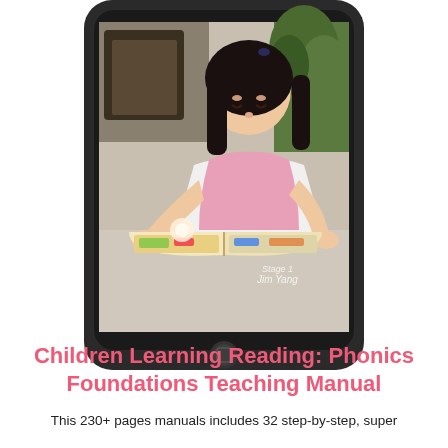[Figure (photo): A tablet device (black, rounded rectangle with home button at bottom) displaying a photo of a young Asian girl with black hair reading a colorful book at a table. The tablet screen also shows text reading 'Stage 1 Jim Yang'. The tablet is shown at a slight angle.]
Children Learning Reading: Phonics Foundations Teaching Manual
This 230+ pages manuals includes 32 step-by-step, super